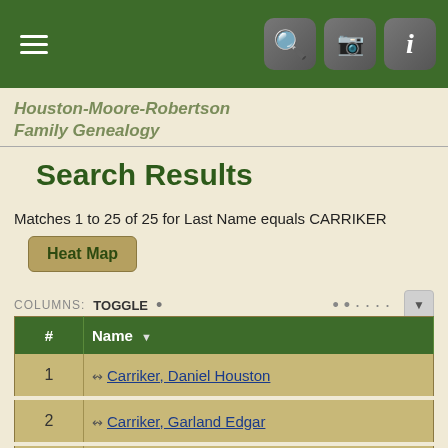[Figure (screenshot): Navigation bar with hamburger menu on left and search, camera, info icon buttons on right, dark green background]
Houston-Moore-Robertson Family Genealogy
Search Results
Matches 1 to 25 of 25 for Last Name equals CARRIKER
Heat Map
COLUMNS: TOGGLE
| # | Name |
| --- | --- |
| 1 | Carriker, Daniel Houston |
| 2 | Carriker, Garland Edgar |
| 3 | Carriker, Helen |